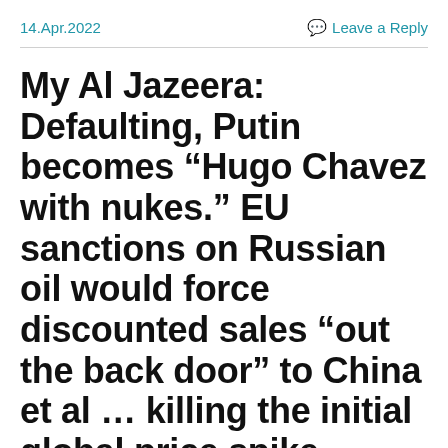14.Apr.2022   Leave a Reply
My Al Jazeera: Defaulting, Putin becomes “Hugo Chavez with nukes.” EU sanctions on Russian oil would force discounted sales “out the back door” to China et al … killing the initial global price spike [English audio. Arabic video]
[Figure (other): Audio player widget showing 0:00 / 0:00 with play button, progress bar, volume icon, and more options icon]